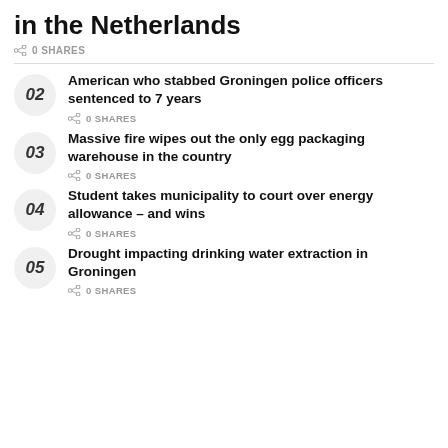in the Netherlands
0 SHARES
02 American who stabbed Groningen police officers sentenced to 7 years — 0 SHARES
03 Massive fire wipes out the only egg packaging warehouse in the country — 0 SHARES
04 Student takes municipality to court over energy allowance – and wins — 0 SHARES
05 Drought impacting drinking water extraction in Groningen — 0 SHARES